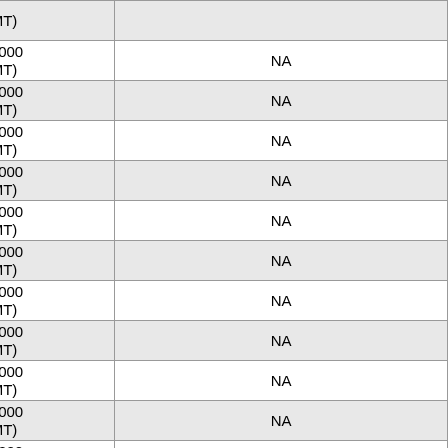| Year | Value | Unit | NA |
| --- | --- | --- | --- |
|  |  | MT) |  |
| 2010 | 0 | (1000 MT) | NA |
| 2011 | 0 | (1000 MT) | NA |
| 2012 | 0 | (1000 MT) | NA |
| 2013 | 0 | (1000 MT) | NA |
| 2014 | 0 | (1000 MT) | NA |
| 2015 | 0 | (1000 MT) | NA |
| 2016 | 0 | (1000 MT) | NA |
| 2017 | 0 | (1000 MT) | NA |
| 2018 | 0 | (1000 MT) | NA |
| 2019 | 0 | (1000 MT) | NA |
| 2020 | 0 | (1000 MT) | NA |